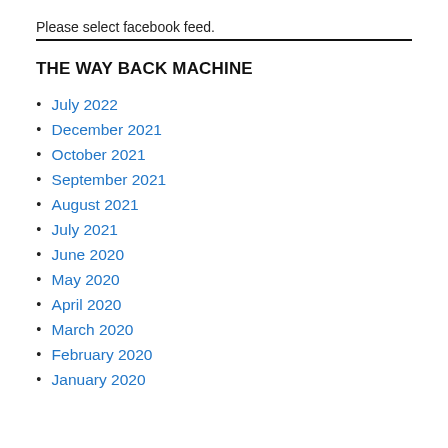Please select facebook feed.
THE WAY BACK MACHINE
July 2022
December 2021
October 2021
September 2021
August 2021
July 2021
June 2020
May 2020
April 2020
March 2020
February 2020
January 2020